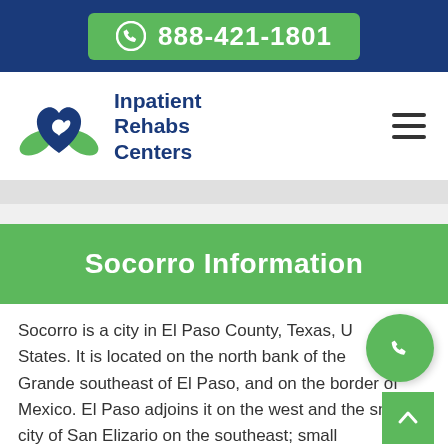888-421-1801
[Figure (logo): Inpatient Rehabs Centers logo with heart and hands icon in green and blue]
Socorro Information
Socorro is a city in El Paso County, Texas, United States. It is located on the north bank of the Rio Grande southeast of El Paso, and on the border of Mexico. El Paso adjoins it on the west and the small city of San Elizario on the southeast; small unincorporated areas of El Paso County separate it from the nearby municipalities of Horizon City to the